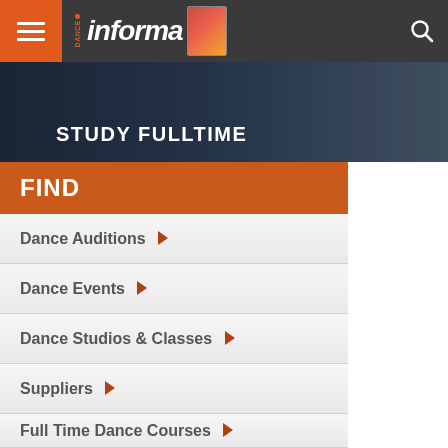Dance Informa — navigation header with hamburger menu, logo, magazine image, and search icon
[Figure (screenshot): Banner image showing 'STUDY FULLTIME' text over a dark dance performance background with legs visible]
FIND
Dance Auditions ▶
Dance Events ▶
Dance Studios & Classes ▶
Suppliers ▶
Full Time Dance Courses ▶
Dance Costumes ▶
Dance Summer Schools ▶
Teachers ▶